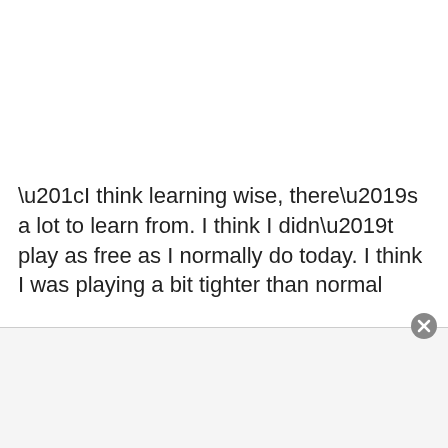“I think learning wise, there’s a lot to learn from. I think I didn’t play as free as I normally do today. I think I was playing a bit tighter than normal